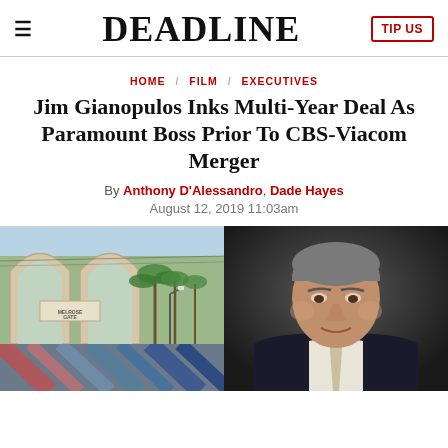≡  DEADLINE  TIP US
HOME / FILM / EXECUTIVES
Jim Gianopulos Inks Multi-Year Deal As Paramount Boss Prior To CBS-Viacom Merger
By Anthony D'Alessandro, Dade Hayes
August 12, 2019 11:03am
[Figure (photo): Left: Paramount Studios Melrose Gate entrance with arched architecture and palm trees. Bottom strip showing colorful geometric pattern. Right: Portrait photo of Jim Gianopulos, a man with grey hair in a dark suit, smiling slightly against a dark background.]